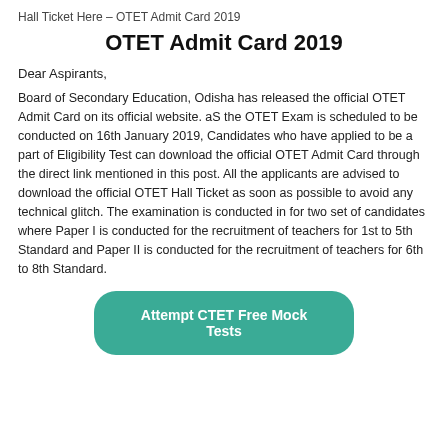Hall Ticket Here – OTET Admit Card 2019
OTET Admit Card 2019
Dear Aspirants,
Board of Secondary Education, Odisha has released the official OTET Admit Card on its official website. aS the OTET Exam is scheduled to be conducted on 16th January 2019, Candidates who have applied to be a part of Eligibility Test can download the official OTET Admit Card through the direct link mentioned in this post. All the applicants are advised to download the official OTET Hall Ticket as soon as possible to avoid any technical glitch. The examination is conducted in for two set of candidates where Paper I is conducted for the recruitment of teachers for 1st to 5th Standard and Paper II is conducted for the recruitment of teachers for 6th to 8th Standard.
[Figure (other): Green rounded button labeled 'Attempt CTET Free Mock Tests']